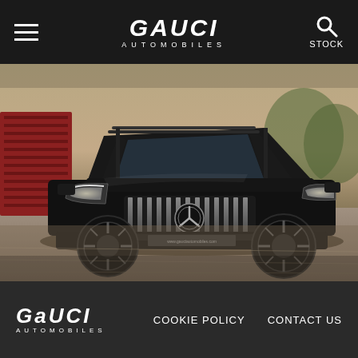Gauci Automobiles — STOCK
[Figure (photo): A black Mercedes-Benz GLE AMG SUV photographed from the front-left angle in an outdoor setting. The vehicle has a Panamericana grille with the three-pointed star emblem, LED headlights, and dark alloy wheels. A red shipping container and stone wall are visible in the background.]
Gauci Automobiles | COOKIE POLICY | CONTACT US